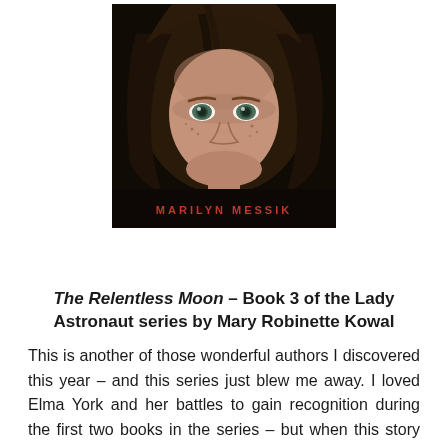[Figure (photo): Book cover showing a young girl with brown hair and green eyes against a dark background, with the author name 'MARILYN MESSIK' in red letters at the bottom]
The Relentless Moon – Book 3 of the Lady Astronaut series by Mary Robinette Kowal
This is another of those wonderful authors I discovered this year – and this series just blew me away. I loved Elma York and her battles to gain recognition during the first two books in the series – but when this story introduced me to